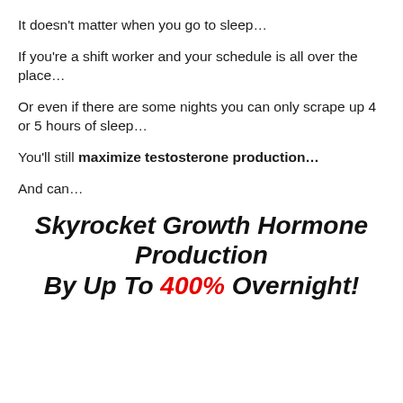It doesn't matter when you go to sleep…
If you're a shift worker and your schedule is all over the place…
Or even if there are some nights you can only scrape up 4 or 5 hours of sleep…
You'll still maximize testosterone production…
And can…
Skyrocket Growth Hormone Production By Up To 400% Overnight!